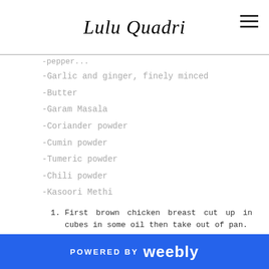Lulu Quadri
-Garlic and ginger, finely minced
-Butter
-Garam Masala
-Coriander powder
-Cumin powder
-Tumeric powder
-Chili powder
-Kasoori Methi
1. First brown chicken breast cut up in cubes in some oil then take out of pan.
2. Sauté the onions in the same pan and add a bit of butter.
3. After onions have sautéed for a couple of minutes, add the spices (the spices are really important!)
1. Add about a teaspoon and a half of Garam
POWERED BY weebly